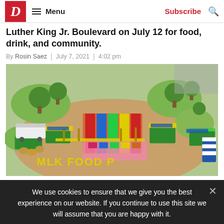D Magazine | Menu | Subscribe | Search
Luther King Jr. Boulevard on July 12 for food, drink, and community.
By Rosin Saez | July 7, 2021 | 4:02 pm
[Figure (photo): Aerial rendering of MLK Food Park with colorful shipping containers, yellow awnings, food trucks, and landscaping along Martin Luther King Jr. Boulevard]
We use cookies to ensure that we give you the best experience on our website. If you continue to use this site we will assume that you are happy with it.
GOT IT!